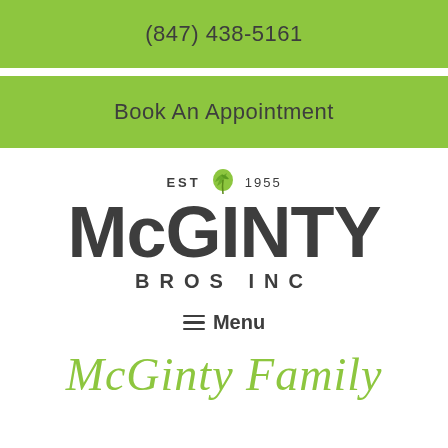(847) 438-5161
Book An Appointment
[Figure (logo): McGinty Bros Inc logo with EST leaf 1955 above large MCGINTY text and BROS INC below]
≡ Menu
McGinty Family (cursive partial text)